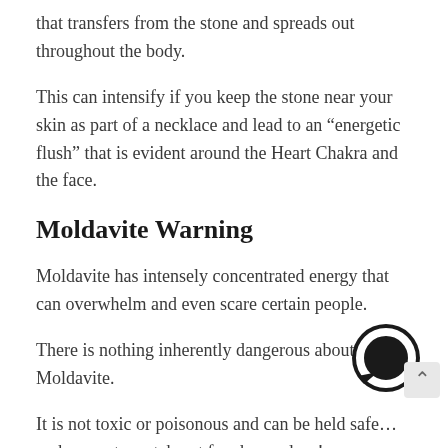that transfers from the stone and spreads out throughout the body.
This can intensify if you keep the stone near your skin as part of a necklace and lead to an “energetic flush” that is evident around the Heart Chakra and the face.
Moldavite Warning
Moldavite has intensely concentrated energy that can overwhelm and even scare certain people.
There is nothing inherently dangerous about Moldavite.
It is not toxic or poisonous and can be held safe… make sure to watch out for sharp edges!
Moldavite and Tik Tok Fame